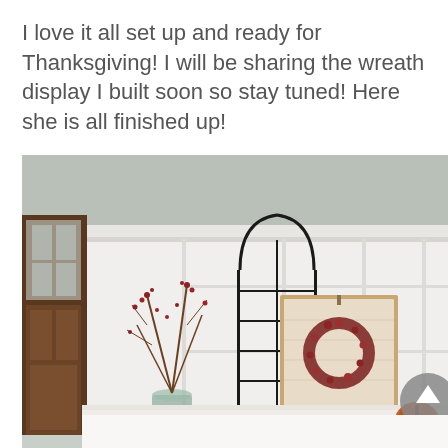I love it all set up and ready for Thanksgiving! I will be sharing the wreath display I built soon so stay tuned! Here she is all finished up!
[Figure (photo): Indoor entryway or hallway decorated for Thanksgiving. A white board-and-batten wall with a tall black metal arch window frame decoration leaning against it. In front of the wall is a console table with a vase of bare red-berry branches, a wooden sign with a red berry wreath, and a small orange pumpkin on the right. A dark wood-framed window door is visible on the left. The ceiling has white crown molding against a gray wall.]